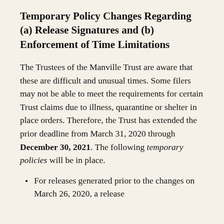Temporary Policy Changes Regarding (a) Release Signatures and (b) Enforcement of Time Limitations
The Trustees of the Manville Trust are aware that these are difficult and unusual times. Some filers may not be able to meet the requirements for certain Trust claims due to illness, quarantine or shelter in place orders. Therefore, the Trust has extended the prior deadline from March 31, 2020 through December 30, 2021. The following temporary policies will be in place.
For releases generated prior to the changes on March 26, 2020, a release